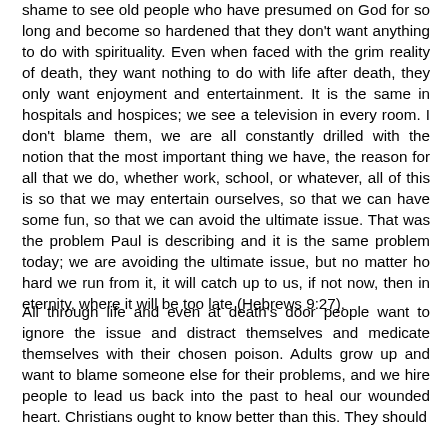shame to see old people who have presumed on God for so long and become so hardened that they don't want anything to do with spirituality. Even when faced with the grim reality of death, they want nothing to do with life after death, they only want enjoyment and entertainment. It is the same in hospitals and hospices; we see a television in every room. I don't blame them, we are all constantly drilled with the notion that the most important thing we have, the reason for all that we do, whether work, school, or whatever, all of this is so that we may entertain ourselves, so that we can have some fun, so that we can avoid the ultimate issue. That was the problem Paul is describing and it is the same problem today; we are avoiding the ultimate issue, but no matter ho hard we run from it, it will catch up to us, if not now, then in eternity, where it will be too late (Hebrews 9:27).
All through life and even at death's door people want to ignore the issue and distract themselves and medicate themselves with their chosen poison. Adults grow up and want to blame someone else for their problems, and we hire people to lead us back into the past to heal our wounded heart. Christians ought to know better than this. They should